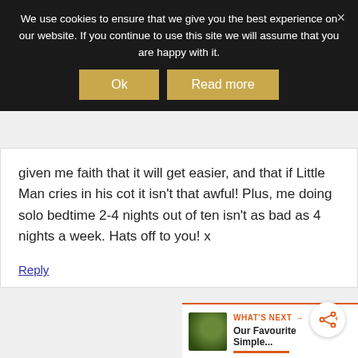We use cookies to ensure that we give you the best experience on our website. If you continue to use this site we will assume that you are happy with it.
Ok | Read more
given me faith that it will get easier, and that if Little Man cries in his cot it isn't that awful! Plus, me doing solo bedtime 2-4 nights out of ten isn't as bad as 4 nights a week. Hats off to you! x
Reply
WHAT'S NEXT → Our Favourite Simple...